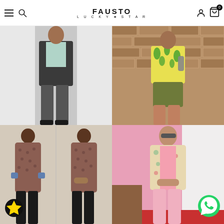FAUSTO LUCKY STAR — navigation header with menu, search, account, and cart icons
[Figure (photo): Man wearing dark jacket, jeans and black shoes standing against a white background — fashion product photo]
[Figure (photo): Man wearing colorful tropical print shirt with olive shorts, standing against a brick wall — fashion product photo]
[Figure (photo): Two views of a man wearing a brown printed kurta with black pants — fashion product photo]
[Figure (photo): Man wearing floral blazer over pink kurta with blush trousers, standing in front of curtain — fashion product photo with WhatsApp contact icon]